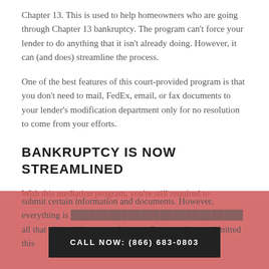Chapter 13. This is used to help homeowners who are going through Chapter 13 bankruptcy. The program can't force your lender to do anything that it isn't already doing. However, it can (and does) streamline the process.
One of the best features of this court-provided program is that you don't need to mail, FedEx, email, or fax documents to your lender's modification department only for no resolution to come from your efforts.
BANKRUPTCY IS NOW STREAMLINED
With this mediation program, you're still required to submit certain information and documents. However, everything is ... all that all participants need to use. Once you have submitted this
CALL NOW: (866) 683-0803